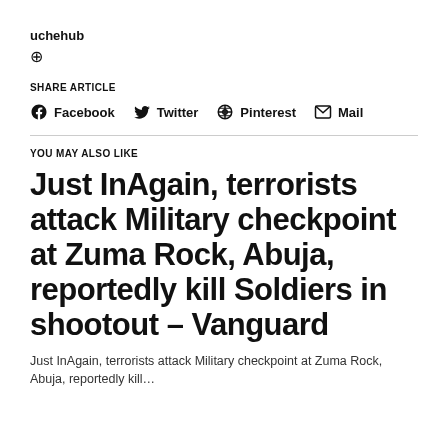uchehub
⊕
SHARE ARTICLE
Facebook  Twitter  Pinterest  Mail
YOU MAY ALSO LIKE
Just InAgain, terrorists attack Military checkpoint at Zuma Rock, Abuja, reportedly kill Soldiers in shootout – Vanguard
Just InAgain, terrorists attack Military checkpoint at Zuma Rock, Abuja, reportedly kill…